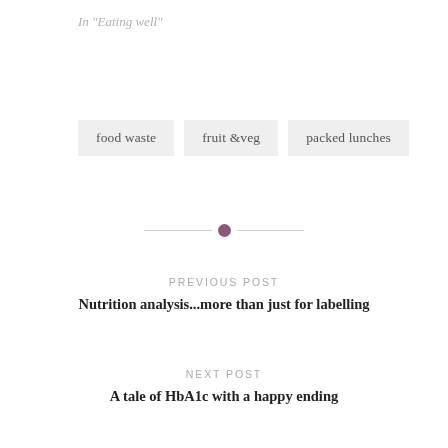In "Eating well"
food waste
fruit &veg
packed lunches
PREVIOUS POST
Nutrition analysis...more than just for labelling
NEXT POST
A tale of HbA1c with a happy ending